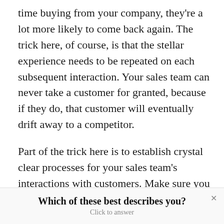time buying from your company, they're a lot more likely to come back again. The trick here, of course, is that the stellar experience needs to be repeated on each subsequent interaction. Your sales team can never take a customer for granted, because if they do, that customer will eventually drift away to a competitor.
Part of the trick here is to establish crystal clear processes for your sales team's interactions with customers. Make sure you have a customer service
Which of these best describes you?
Click to answer